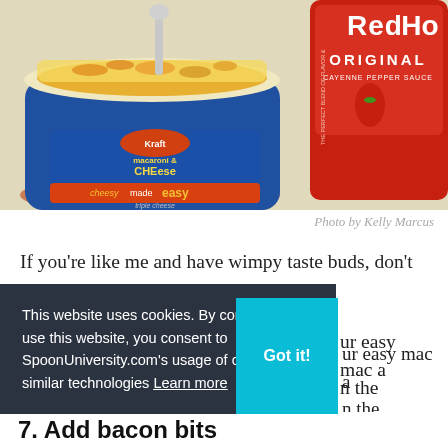[Figure (photo): Photo of Kraft Macaroni & Cheese cup next to Frank's RedHot Original Cayenne Pepper Sauce bottle on a light surface]
Photo by Kelly Marcus
If you're like me and have wimpy taste buds, don't
ur easy mac a
n the
g into your
se.
This website uses cookies. By continuing to use this website, you consent to SpoonUniversity.com's usage of cookies and similar technologies Learn more
7. Add bacon bits